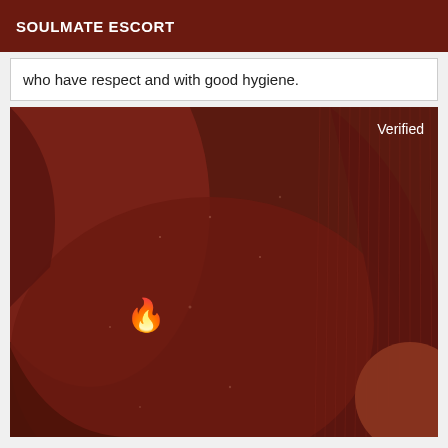SOULMATE ESCORT
who have respect and with good hygiene.
[Figure (photo): Close-up photo of a person's torso wearing a dark red/maroon ribbed top, with a flame emoji overlaid. The word 'Verified' appears in white text in the upper right corner of the image.]